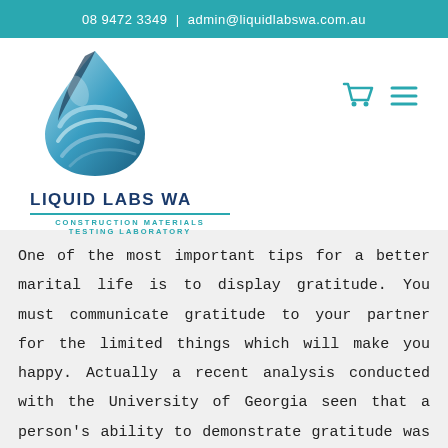08 9472 3349  |  admin@liquidlabswa.com.au
[Figure (logo): Liquid Labs WA logo featuring a blue water droplet with swirl design, text reads LIQUID LABS WA, CONSTRUCTION MATERIALS TESTING LABORATORY]
One of the most important tips for a better marital life is to display gratitude. You must communicate gratitude to your partner for the limited things which will make you happy. Actually a recent analysis conducted with the University of Georgia seen that a person's ability to demonstrate gratitude was your most important predictor of a